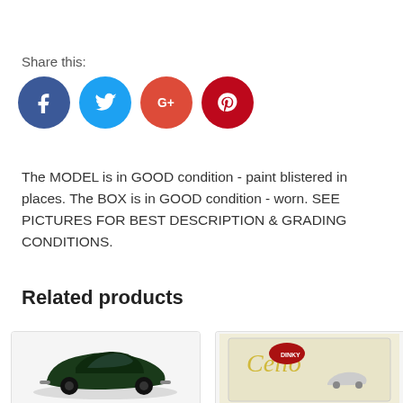Share this:
[Figure (infographic): Social media share icons: Facebook (blue circle with f), Twitter (light blue circle with bird), Google+ (red circle with G+), Pinterest (dark red circle with P)]
The MODEL is in GOOD condition - paint blistered in places. The BOX is in GOOD condition - worn. SEE PICTURES FOR BEST DESCRIPTION &; GRADING CONDITIONS.
Related products
[Figure (photo): Dark green vintage model car (roadster/sports car) on white background]
[Figure (photo): Boxed model car set with yellow decorative script on box, showing a small silver/cream car inside]